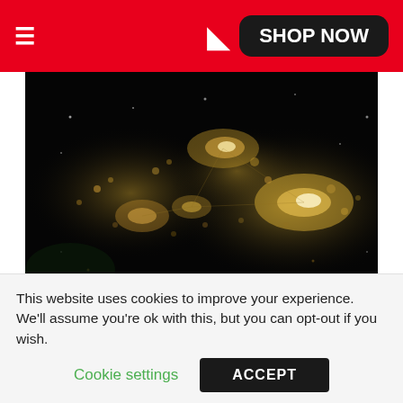≡  ) SHOP NOW
[Figure (photo): NASA photo of the Texas triangle from space at night, showing city lights against a dark background]
Photo: NASA, the Texas triangle from space
Texaplex includes 66 counties, with Burleson County being at the center. The 60,000-square-
This website uses cookies to improve your experience. We'll assume you're ok with this, but you can opt-out if you wish.
Cookie settings   ACCEPT